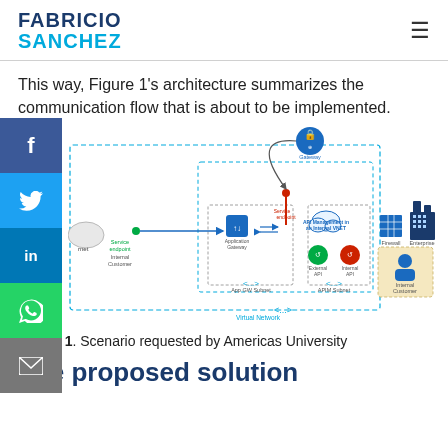FABRICIO SANCHEZ
This way, Figure 1's architecture summarizes the communication flow that is about to be implemented.
[Figure (network-graph): Azure architecture diagram showing communication flow: Internet/cloud on left connects via Service endpoint to Application Gateway (App GW Subnet), which connects to API Management in an Internal VNET (APIM Subnet) containing External API and Internal API. Gateway (top center, with lock icon) connects via curved arrow to the Service endpoint. Firewall and Enterprise building on right, with Internal Customer in a beige box connected to the internal network. Virtual Network label at bottom with dashed boundary.]
Figure 1. Scenario requested by Americas University
The proposed solution